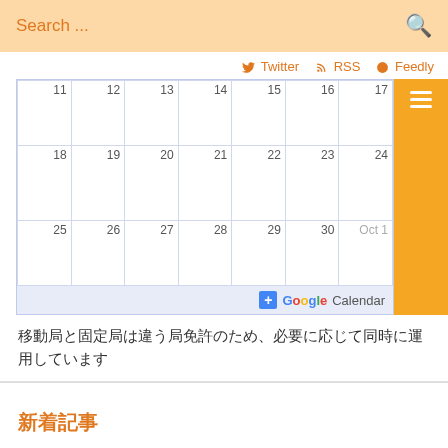Search ...
Twitter  RSS  Feedly
[Figure (screenshot): Partial Google Calendar widget showing dates 11-17, 18-24, 25-30 and Oct 1, with a +Google Calendar button at the bottom and a hamburger menu button on the right]
移動局と固定局は違う局免許のため、必要に応じて同時に運用しています
新着記事